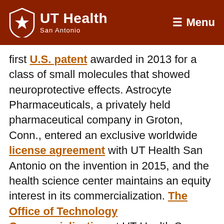UT Health San Antonio — Menu
first U.S. patent awarded in 2013 for a class of small molecules that showed neuroprotective effects. Astrocyte Pharmaceuticals, a privately held pharmaceutical company in Groton, Conn., entered an exclusive worldwide license agreement with UT Health San Antonio on the invention in 2015, and the health science center maintains an equity interest in its commercialization. The Office of Technology Commercialization at UT Health San Antonio played a strong assistive role, particularly during the years Dr. Lechleiter was seeking a patent and continuing through the licensing agreement